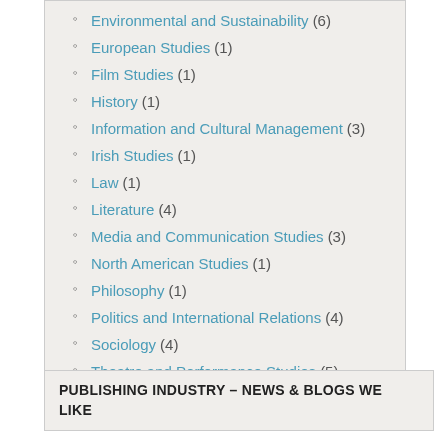Environmental and Sustainability (6)
European Studies (1)
Film Studies (1)
History (1)
Information and Cultural Management (3)
Irish Studies (1)
Law (1)
Literature (4)
Media and Communication Studies (3)
North American Studies (1)
Philosophy (1)
Politics and International Relations (4)
Sociology (4)
Theatre and Performance Studies (5)
Uncategorized (3)
PUBLISHING INDUSTRY – NEWS & BLOGS WE LIKE